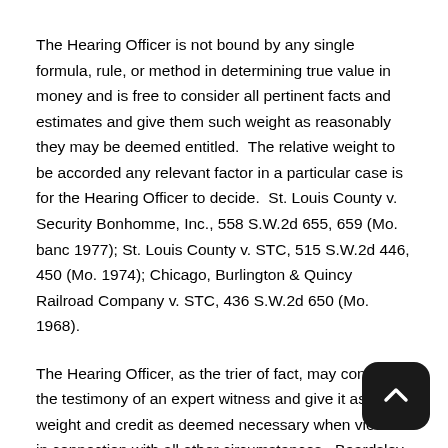The Hearing Officer is not bound by any single formula, rule, or method in determining true value in money and is free to consider all pertinent facts and estimates and give them such weight as reasonably they may be deemed entitled. The relative weight to be accorded any relevant factor in a particular case is for the Hearing Officer to decide. St. Louis County v. Security Bonhomme, Inc., 558 S.W.2d 655, 659 (Mo. banc 1977); St. Louis County v. STC, 515 S.W.2d 446, 450 (Mo. 1974); Chicago, Burlington & Quincy Railroad Company v. STC, 436 S.W.2d 650 (Mo. 1968).
The Hearing Officer, as the trier of fact, may consider the testimony of an expert witness and give it as much weight and credit as deemed necessary when viewed in connection with all other circumstances. Beardsley v. Beardsley, 819 S.W.2d 400, 403 (Mo. App. W.D. 1991). The Hearing Officer, as the trier of fact, is not bound by the opinions of experts but may believe none of the expert's testimony or accept it in part or reject it in part. Exchange Bank of Missouri v. Gerlt, 367 S.W.3d 132, 135